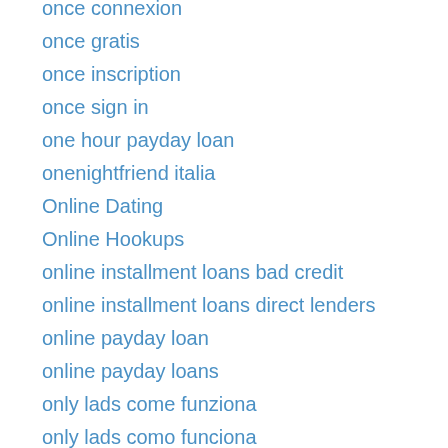once connexion
once gratis
once inscription
once sign in
one hour payday loan
onenightfriend italia
Online Dating
Online Hookups
online installment loans bad credit
online installment loans direct lenders
online payday loan
online payday loans
only lads come funziona
only lads como funciona
only lads espa?a